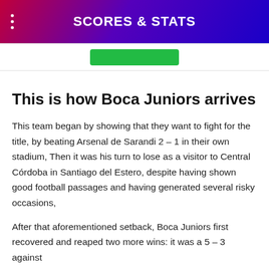SCORES & STATS
This is how Boca Juniors arrives
This team began by showing that they want to fight for the title, by beating Arsenal de Sarandi 2 – 1 in their own stadium, Then it was his turn to lose as a visitor to Central Córdoba in Santiago del Estero, despite having shown good football passages and having generated several risky occasions,
After that aforementioned setback, Boca Juniors first recovered and reaped two more wins: it was a 5 – 3 against